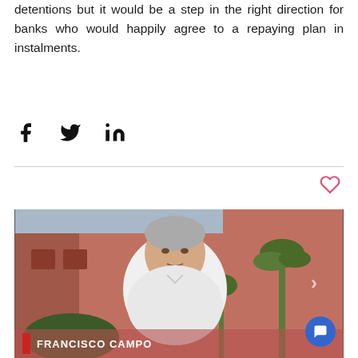detentions but it would be a step in the right direction for banks who would happily agree to a repaying plan in instalments.
[Figure (infographic): Social share icons: Facebook (f), Twitter (bird), LinkedIn (in)]
[Figure (infographic): Heart/like icon outline in red/pink]
[Figure (photo): Video thumbnail showing a grey-haired man in a white shirt speaking outdoors in front of a terracotta building with palm trees. A name bar at the bottom reads FRANCISCO CAMPO with a red accent. A blue chat button is in the lower right corner.]